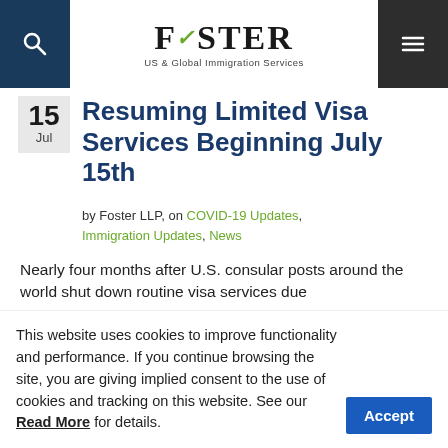Foster — US & Global Immigration Services
Resuming Limited Visa Services Beginning July 15th
by Foster LLP, on COVID-19 Updates, Immigration Updates, News
Nearly four months after U.S. consular posts around the world shut down routine visa services due
This website uses cookies to improve functionality and performance. If you continue browsing the site, you are giving implied consent to the use of cookies and tracking on this website. See our Read More for details.